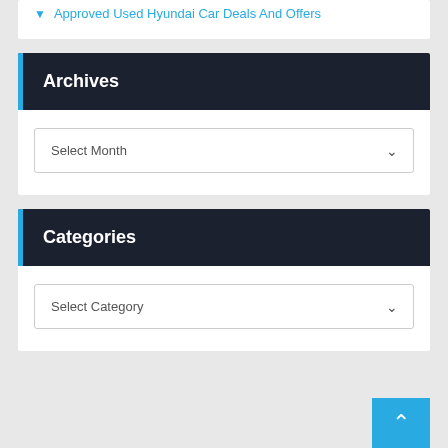Approved Used Hyundai Car Deals And Offers
Archives
Select Month
Categories
Select Category